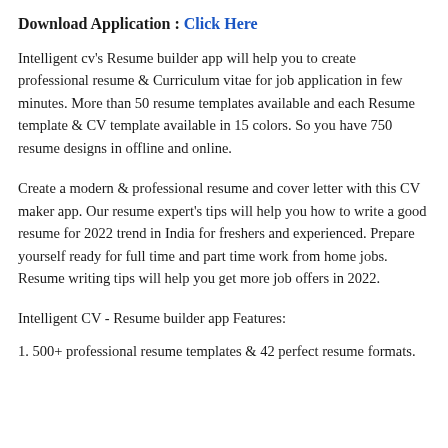Download Application : Click Here
Intelligent cv's Resume builder app will help you to create professional resume & Curriculum vitae for job application in few minutes. More than 50 resume templates available and each Resume template & CV template available in 15 colors. So you have 750 resume designs in offline and online.
Create a modern & professional resume and cover letter with this CV maker app. Our resume expert's tips will help you how to write a good resume for 2022 trend in India for freshers and experienced. Prepare yourself ready for full time and part time work from home jobs. Resume writing tips will help you get more job offers in 2022.
Intelligent CV - Resume builder app Features:
1. 500+ professional resume templates & 42 perfect resume formats.